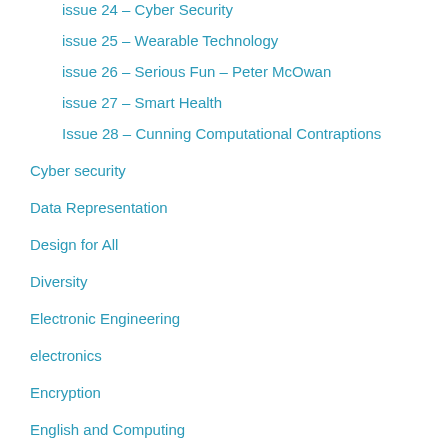issue 24 – Cyber Security
issue 25 – Wearable Technology
issue 26 – Serious Fun – Peter McOwan
issue 27 – Smart Health
Issue 28 – Cunning Computational Contraptions
Cyber security
Data Representation
Design for All
Diversity
Electronic Engineering
electronics
Encryption
English and Computing
Finance